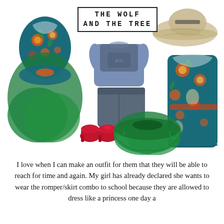THE WOLF AND THE TREE
[Figure (photo): Flat-lay photo of children's clothing items: a teal/blue floral dress with green tulle skirt on the left, a blue/grey boy's short set (t-shirt and shorts) in the center top, a wide-brim sun hat in the upper right, a shorter teal floral dress on the right, small red heeled shoes at bottom center-left, and a green tulle tutu skirt at bottom center.]
I love when I can make an outfit for them that they will be able to reach for time and again. My girl has already declared she wants to wear the romper/skirt combo to school because they are allowed to dress like a princess one day a